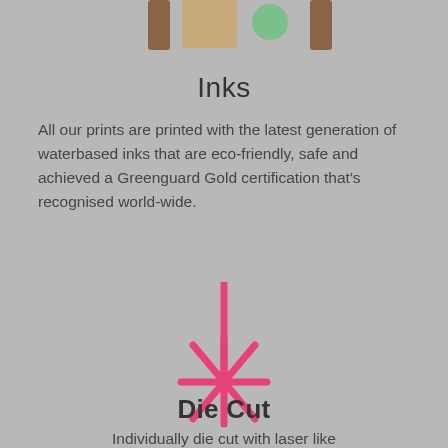[Figure (illustration): Partial view of ink cartridge or printing supply illustration at the top of the page, cropped]
Inks
All our prints are printed with the latest generation of waterbased inks that are eco-friendly, safe and achieved a Greenguard Gold certification that's recognised world-wide.
[Figure (illustration): Pink star/asterisk burst icon with a vertical line extending upward from its center, resembling a die-cut or laser cut symbol]
Die Cut
Individually die cut with laser like